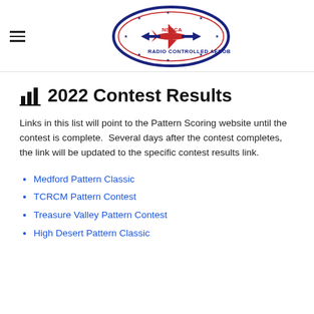[Figure (logo): NSRCA Radio Controlled Aerobatics oval logo with red airplane and blue arrows pointing left and right, labeled USA and with stars around the border]
2022 Contest Results
Links in this list will point to the Pattern Scoring website until the contest is complete. Several days after the contest completes, the link will be updated to the specific contest results link.
Medford Pattern Classic
TCRCM Pattern Contest
Treasure Valley Pattern Contest
High Desert Pattern Classic